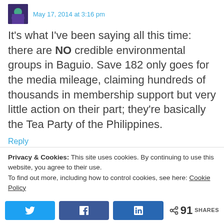May 17, 2014 at 3:16 pm
It's what I've been saying all this time: there are NO credible environmental groups in Baguio. Save 182 only goes for the media mileage, claiming hundreds of thousands in membership support but very little action on their part; they're basically the Tea Party of the Philippines.
Reply
MidwayHaven says:
Privacy & Cookies: This site uses cookies. By continuing to use this website, you agree to their use.
To find out more, including how to control cookies, see here: Cookie Policy
91 SHARES